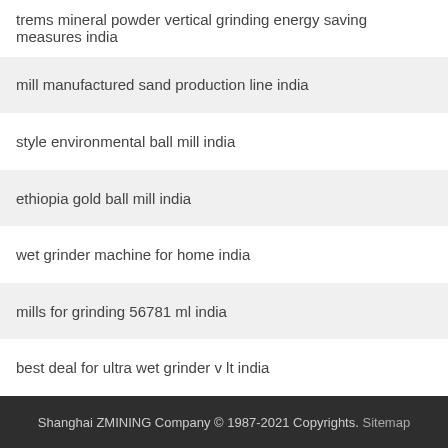trems mineral powder vertical grinding energy saving measures india
mill manufactured sand production line india
style environmental ball mill india
ethiopia gold ball mill india
wet grinder machine for home india
mills for grinding 56781 ml india
best deal for ultra wet grinder v lt india
Shanghai ZMINING Company © 1987-2021 Copyrights. Sitemap